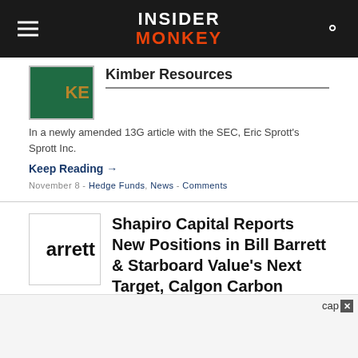INSIDER MONKEY
Kimber Resources
In a newly amended 13G article with the SEC, Eric Sprott's Sprott Inc.
Keep Reading →
November 8 - Hedge Funds, News - Comments
Shapiro Capital Reports New Positions in Bill Barrett & Starboard Value's Next Target, Calgon Carbon
Shapiro Capital Management is an investment cap